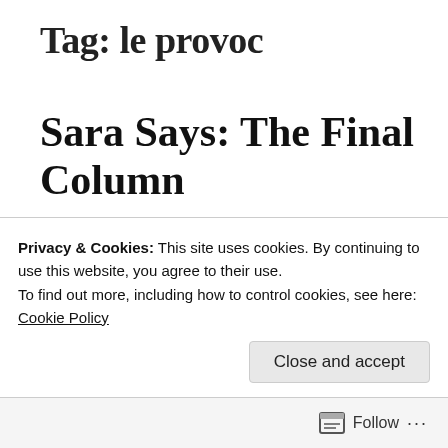Tag: le provoc
Sara Says: The Final Column
May 8, 2015
Sara Heath
When I began this column back in September, I
Privacy & Cookies: This site uses cookies. By continuing to use this website, you agree to their use.
To find out more, including how to control cookies, see here:
Cookie Policy
Close and accept
Follow ...